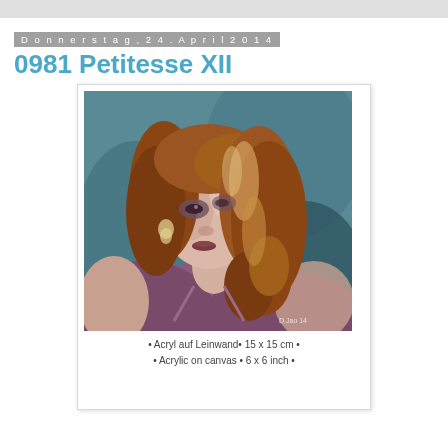Donnerstag, 24. April 2014
0981 Petitesse XII
[Figure (illustration): Acrylic painting of a woman with long reddish-auburn wavy hair, wearing a purple sleeveless top, with a teal/blue-grey background. The woman is looking downward. Artist signature visible in bottom right corner.]
• Acryl auf Leinwand• 15 x 15 cm •
• Acrylic on canvas • 6 x 6 inch •